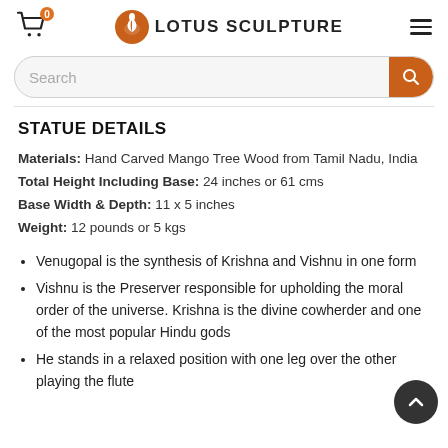0 LOTUS SCULPTURE
STATUE DETAILS
Materials: Hand Carved Mango Tree Wood from Tamil Nadu, India
Total Height Including Base: 24 inches or 61 cms
Base Width & Depth: 11 x 5 inches
Weight: 12 pounds or 5 kgs
Venugopal is the synthesis of Krishna and Vishnu in one form
Vishnu is the Preserver responsible for upholding the moral order of the universe. Krishna is the divine cowherder and one of the most popular Hindu gods
He stands in a relaxed position with one leg over the other playing the flute